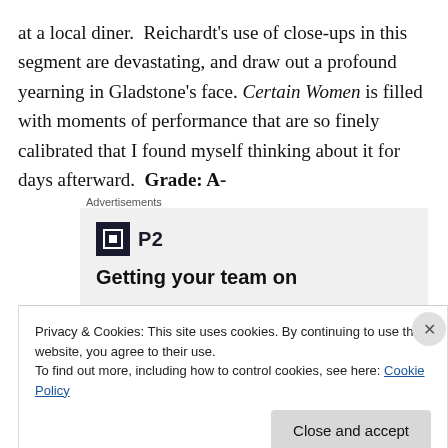at a local diner.  Reichardt's use of close-ups in this segment are devastating, and draw out a profound yearning in Gladstone's face. Certain Women is filled with moments of performance that are so finely calibrated that I found myself thinking about it for days afterward.  Grade: A-
Advertisements
[Figure (other): Advertisement for P2 with logo (dark square with H icon) and headline 'Getting your team on']
Privacy & Cookies: This site uses cookies. By continuing to use this website, you agree to their use.
To find out more, including how to control cookies, see here: Cookie Policy
Close and accept